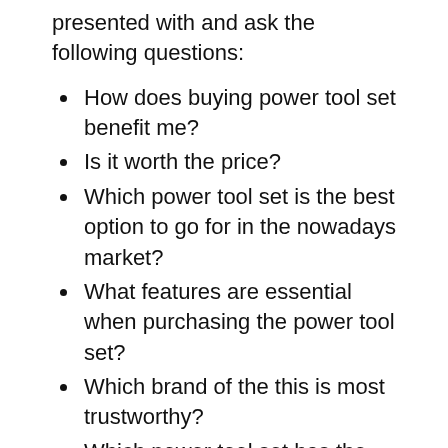presented with and ask the following questions:
How does buying power tool set benefit me?
Is it worth the price?
Which power tool set is the best option to go for in the nowadays market?
What features are essential when purchasing the power tool set?
Which brand of the this is most trustworthy?
Which power tool set has the best price/value ratio?
You are bound to have even more vitally important questions when purchasing the power tool set. The best way to inform